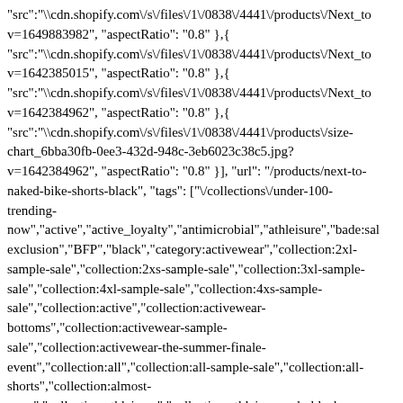"src":"\\cdn.shopify.com\/s\/files\/1\/0838\/4441\/products\/Next_to v=1649883982", "aspectRatio": "0.8" },{ "src":"\\cdn.shopify.com\/s\/files\/1\/0838\/4441\/products\/Next_to v=1642385015", "aspectRatio": "0.8" },{ "src":"\\cdn.shopify.com\/s\/files\/1\/0838\/4441\/products\/Next_to v=1642384962", "aspectRatio": "0.8" },{ "src":"\\cdn.shopify.com\/s\/files\/1\/0838\/4441\/products\/size-chart_6bba30fb-0ee3-432d-948c-3eb6023c38c5.jpg? v=1642384962", "aspectRatio": "0.8" }], "url": "/products/next-to-naked-bike-shorts-black", "tags": ["\/collections\/under-100-trending-now","active","active_loyalty","antimicrobial","athleisure","bade:sal exclusion","BFP","black","category:activewear","collection:2xl-sample-sale","collection:2xs-sample-sale","collection:3xl-sample-sale","collection:4xl-sample-sale","collection:4xs-sample-sale","collection:active","collection:activewear-bottoms","collection:activewear-sample-sale","collection:activewear-the-summer-finale-event","collection:all","collection:all-sample-sale","collection:all-shorts","collection:almost-gone","collection:athleisure","collection:athleisure-sale-black-friday","collection:athleisure-shorts","collection:athleisure-under-100","collection:athleisure-under-75","collection:best-sellers","collection:best-sellers-sampe-sale","collection:best-sellers-sample-sale","collection:celebrate-